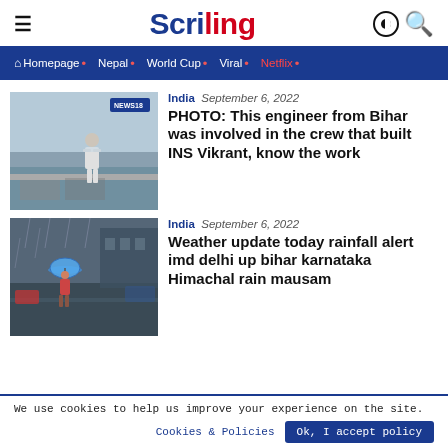Scriling
Homepage • Nepal • World Cup • Viral • Netflix •
[Figure (photo): Person in white clothing standing on a surface near water, NEWS18 badge in top right corner]
India  September 6, 2022
PHOTO: This engineer from Bihar was involved in the crew that built INS Vikrant, know the work
[Figure (photo): Person walking in heavy rain with a blue umbrella on a flooded street]
India  September 6, 2022
Weather update today rainfall alert imd delhi up bihar karnataka Himachal rain mausam
We use cookies to help us improve your experience on the site. Cookies & Policies  Ok, I accept policy